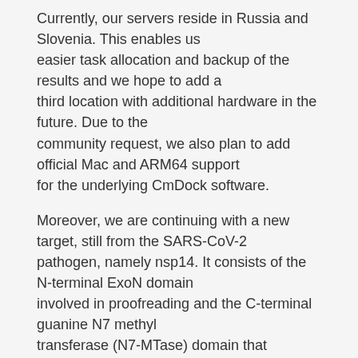Currently, our servers reside in Russia and Slovenia. This enables us easier task allocation and backup of the results and we hope to add a third location with additional hardware in the future. Due to the community request, we also plan to add official Mac and ARM64 support for the underlying CmDock software.
Moreover, we are continuing with a new target, still from the SARS-CoV-2 pathogen, namely nsp14. It consists of the N-terminal ExoN domain involved in proofreading and the C-terminal guanine N7 methyl transferase (N7-MTase) domain that functions in mRNA capping and on the latter we are focusing on now.
After this target is complete, we are turning our attention towards one potential therapeutic target of the Ebola viral pathogen to return back to SARS-CoV-2 after that target will be complete.